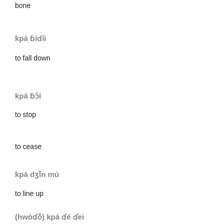bone
kpá ɓíɗíi
to fall down
kpá ɓɔ́í
to stop
to cease
kpá dʒǐn mú
to line up
(hwòɗǒ) kpá ɗé ɗei